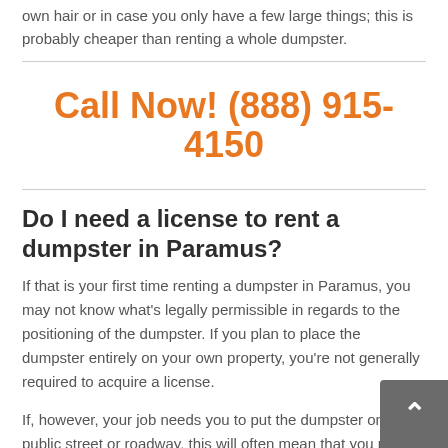own hair or in case you only have a few large things; this is probably cheaper than renting a whole dumpster.
Call Now! (888) 915-4150
Do I need a license to rent a dumpster in Paramus?
If that is your first time renting a dumpster in Paramus, you may not know what’s legally permissible in regards to the positioning of the dumpster. If you plan to place the dumpster entirely on your own property, you’re not generally required to acquire a license.
If, however, your job needs you to put the dumpster on a public street or roadway, this will often mean that you must try to qualify for a license. It’s almost always a good idea to consult your local